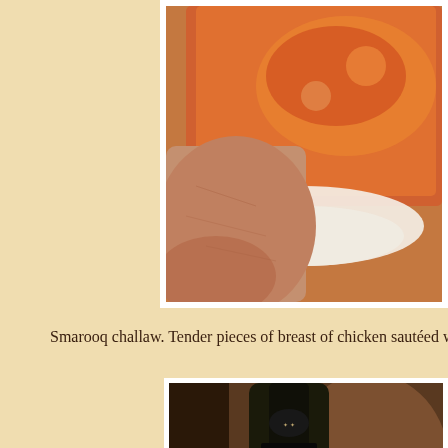[Figure (photo): A hand holding a white ceramic dish containing an orange/red chicken curry dish (Smarooq challaw), photographed from above]
Smarooq challaw. Tender pieces of breast of chicken sautéed with mushro...
[Figure (photo): A bottle of M. Chapoutier 1996 wine on a restaurant table, with a blurred person wearing glasses in the background]